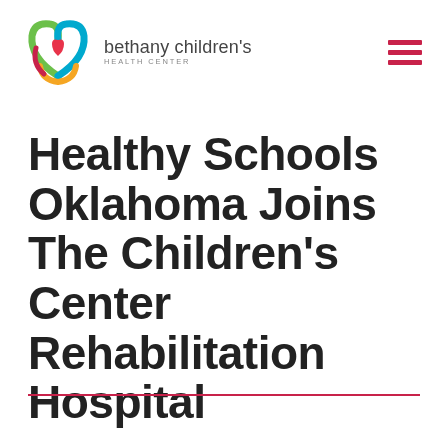[Figure (logo): Bethany Children's Health Center logo with colorful arc/heart graphic and text]
Healthy Schools Oklahoma Joins The Children's Center Rehabilitation Hospital